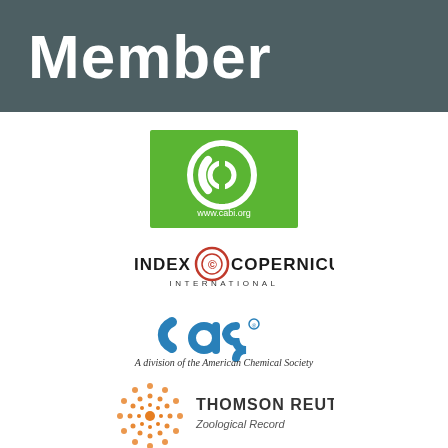Member
[Figure (logo): CABI logo - green rectangle with white circular CABI symbol and www.cabi.org text]
[Figure (logo): Index Copernicus International logo with red circular emblem]
[Figure (logo): CAS logo - blue stylized letters, A division of the American Chemical Society]
[Figure (logo): Thomson Reuters Zoological Record logo with orange dotted circle]